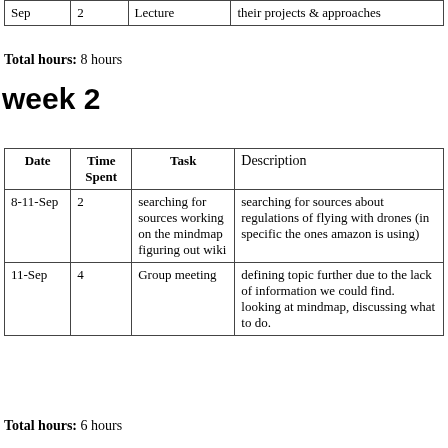| Date | Time Spent | Task | Description |
| --- | --- | --- | --- |
| Sep | 2 | Lecture | their projects & approaches |
Total hours: 8 hours
week 2
| Date | Time Spent | Task | Description |
| --- | --- | --- | --- |
| 8-11-Sep | 2 | searching for sources working on the mindmap figuring out wiki | searching for sources about regulations of flying with drones (in specific the ones amazon is using) |
| 11-Sep | 4 | Group meeting | defining topic further due to the lack of information we could find. looking at mindmap, discussing what to do. |
Total hours: 6 hours